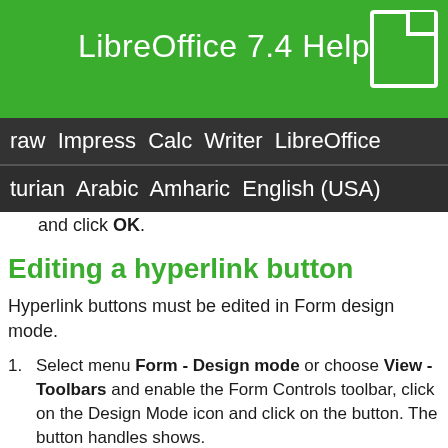LibreOffice 7.4 Help
raw  Impress  Calc  Writer  LibreOffice
turian  Arabic  Amharic  English (USA)
and click OK.
Editing a hyperlink button
Hyperlink buttons must be edited in Form design mode.
Select menu Form - Design mode or choose View - Toolbars and enable the Form Controls toolbar, click on the Design Mode icon and click on the button. The button handles shows.
Open context menu and select Control Properties.